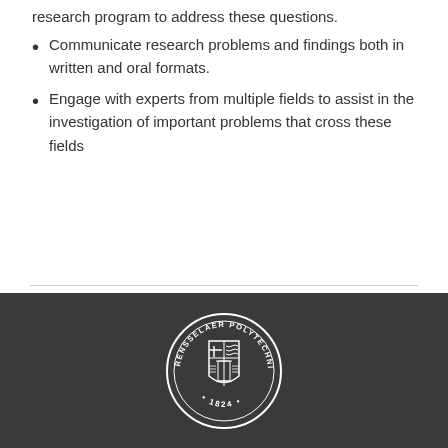research program to address these questions.
Communicate research problems and findings both in written and oral formats.
Engage with experts from multiple fields to assist in the investigation of important problems that cross these fields
[Figure (logo): Rensselaer Polytechnic Institute seal/logo, circular with shield and text 'RENSSELAER POLYTECHNIC INSTITUTE' and '1824', white on dark gray background]